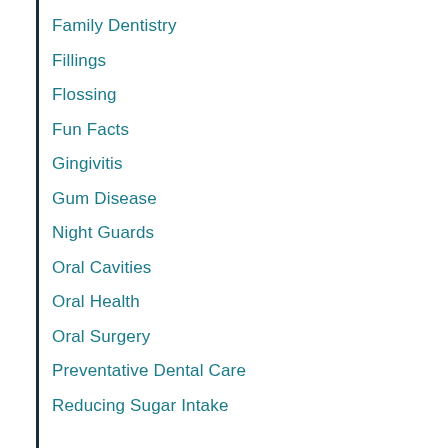Family Dentistry
Fillings
Flossing
Fun Facts
Gingivitis
Gum Disease
Night Guards
Oral Cavities
Oral Health
Oral Surgery
Preventative Dental Care
Reducing Sugar Intake